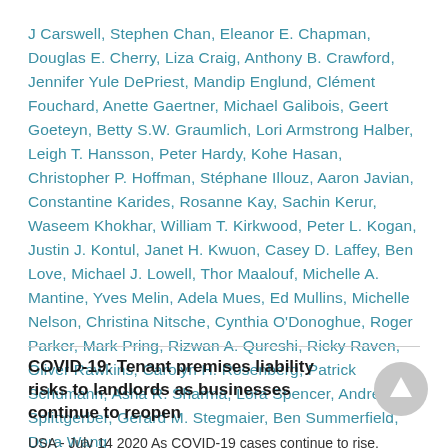J Carswell, Stephen Chan, Eleanor E. Chapman, Douglas E. Cherry, Liza Craig, Anthony B. Crawford, Jennifer Yule DePriest, Mandip Englund, Clément Fouchard, Anette Gaertner, Michael Galibois, Geert Goeteyn, Betty S.W. Graumlich, Lori Armstrong Halber, Leigh T. Hansson, Peter Hardy, Kohe Hasan, Christopher P. Hoffman, Stéphane Illouz, Aaron Javian, Constantine Karides, Rosanne Kay, Sachin Kerur, Waseem Khokhar, William T. Kirkwood, Peter L. Kogan, Justin J. Kontul, Janet H. Kwuon, Casey D. Laffey, Ben Love, Michael J. Lowell, Thor Maalouf, Michelle A. Mantine, Yves Melin, Adela Mues, Ed Mullins, Michelle Nelson, Christina Nitsche, Cynthia O'Donoghue, Roger Parker, Mark Pring, Rizwan A. Qureshi, Ricky Raven, Oliver Rawkins, Carolyn H. Rosenberg, Patrick Schumann, Asha R. Sharma, Lora Spencer, Andreas Splittgerber, Gerard M. Stegmaier, Ben Summerfield, Dora Wang
COVID-19: Tenant premises liability risks to landlords as businesses continue to reopen
USA - July 14 2020 As COVID-19 cases continue to rise,